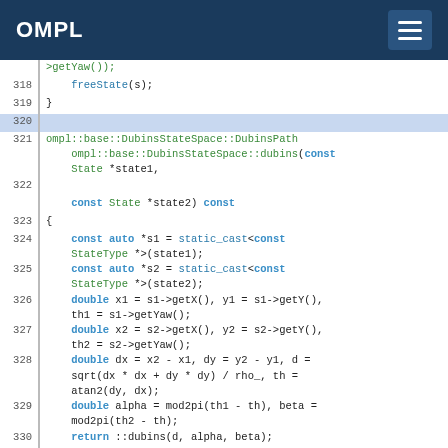OMPL
Source code listing showing C++ implementation of DubinsStateSpace::dubins and DubinsMotionValidator::defaultSettings functions, lines 318-335.